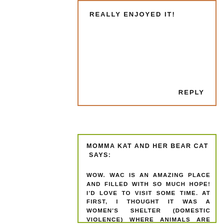REALLY ENJOYED IT!
REPLY
MOMMA KAT AND HER BEAR CAT SAYS:
WOW. WAC IS AN AMAZING PLACE AND FILLED WITH SO MUCH HOPE! I'D LOVE TO VISIT SOME TIME. AT FIRST, I THOUGHT IT WAS A WOMEN'S SHELTER (DOMESTIC VIOLENCE) WHERE ANIMALS ARE ALLOWED. I WOULD LOVE TO START A SHELTER LIKE THAT! GIVEN MY PAST, I'M PART OF MANY GROUPS FOR SURVIVORS AND THERE ARE